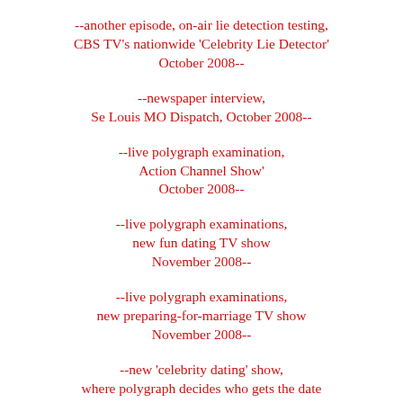--another episode, on-air lie detection testing, CBS TV's nationwide 'Celebrity Lie Detector' October 2008--
--newspaper interview, Se Louis MO Dispatch, October 2008--
--live polygraph examination, Action Channel Show' October 2008--
--live polygraph examinations, new fun dating TV show November 2008--
--live polygraph examinations, new preparing-for-marriage TV show November 2008--
--new 'celebrity dating' show, where polygraph decides who gets the date November 2008--
--'The Paris Hilton BFF Show',